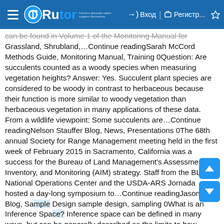Rutor — Вход — Регистр...
can be found in Volume 1 of the Monitoring Manual for Grassland, Shrubland,…Continue readingSarah McCord Methods Guide, Monitoring Manual, Training 0Question: Are succulents counted as a woody species when measuring vegetation heights? Answer: Yes. Succulent plant species are considered to be woody in contrast to herbaceous because their function is more similar to woody vegetation than herbaceous vegetation in many applications of these data. From a wildlife viewpoint: Some succulents are…Continue readingNelson Stauffer Blog, News, Presentations 0The 68th annual Society for Range Management meeting held in the first week of February 2015 in Sacramento, California was a success for the Bureau of Land Management's Assessment, Inventory, and Monitoring (AIM) strategy. Staff from the BLM's National Operations Center and the USDA-ARS Jornada hosted a day-long symposium to…Continue readingJason Karl Blog, Sample Design sample design, sampling 0What is an Inference Space? Inference space can be defined in many ways, but can be generally described as the limits to how broadly a particular results applies (Lorenzen and Anderson 1993, Wills et al. in